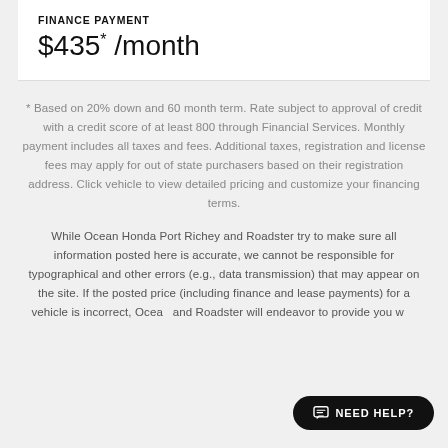FINANCE PAYMENT
$435* /month
* Based on 20% down and 60 month term. Rate subject to approval of credit with a credit score of at least 800 through Financial Services. Monthly payment includes all taxes and fees. Additional taxes, registration and license fees may apply for out of state purchasers based on their registration address. Click vehicle to view detailed pricing and customize your financing terms.
While Ocean Honda Port Richey and Roadster try to make sure all information posted here is accurate, we cannot be responsible for typographical and other errors (e.g., data transmission) that may appear on the site. If the posted price (including finance and lease payments) for a vehicle is incorrect, Ocean and Roadster will endeavor to provide you w...
NEED HELP?